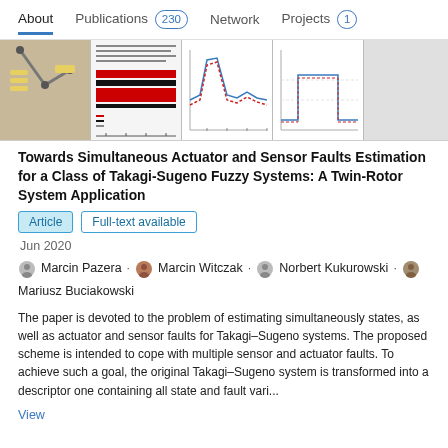About  Publications 230  Network  Projects 1
[Figure (other): Composite of publication figures: robot arm photo, spectral data plots, waveform charts, step response diagrams, and histogram-style bar charts from scientific paper.]
Towards Simultaneous Actuator and Sensor Faults Estimation for a Class of Takagi-Sugeno Fuzzy Systems: A Twin-Rotor System Application
Article  Full-text available
Jun 2020
Marcin Pazera · Marcin Witczak · Norbert Kukurowski · Mariusz Buciakowski
The paper is devoted to the problem of estimating simultaneously states, as well as actuator and sensor faults for Takagi–Sugeno systems. The proposed scheme is intended to cope with multiple sensor and actuator faults. To achieve such a goal, the original Takagi–Sugeno system is transformed into a descriptor one containing all state and fault vari...
View